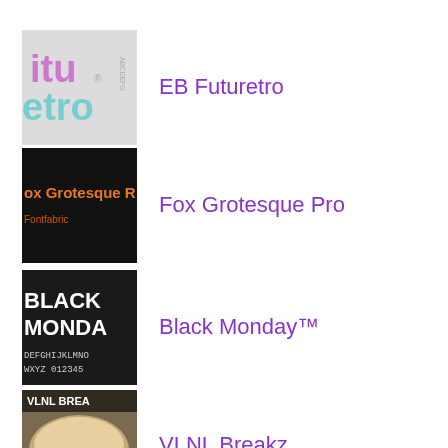[Figure (illustration): Font preview thumbnail for EB Futuretro showing stylized colorful text on light gray background]
EB Futuretro
[Figure (illustration): Font preview thumbnail for Fox Grotesque Pro showing orange text on black background]
Fox Grotesque Pro
[Figure (illustration): Font preview thumbnail for Black Monday showing white bold letters on dark background with alphabet characters]
Black Monday™
[Figure (photo): Font preview thumbnail for VLNL Breakz showing a food/bread photo with VLNL branding]
VLNL Breakz
[Figure (illustration): Font preview thumbnail for Spiro showing bubbly green outlined text on pink background]
Spiro